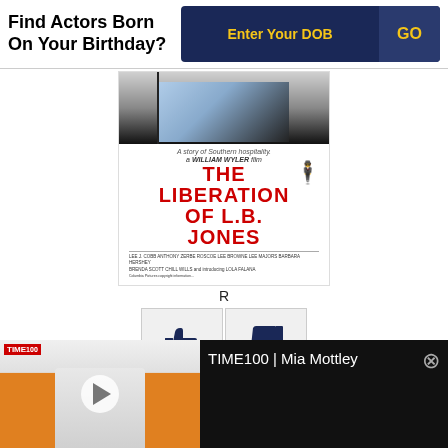Find Actors Born On Your Birthday?
Enter Your DOB
GO
[Figure (photo): Movie poster for The Liberation of L.B. Jones, a William Wyler film. White background with red bold title text and figure silhouette.]
R
[Figure (infographic): Thumbs up icon with count 13 and thumbs down icon with count 2]
LB Jones is a rich African-American funeral director who
[Figure (screenshot): TIME100 video thumbnail showing Mia Mottley with a play button overlay, orange background, beside video title TIME100 | Mia Mottley on dark background]